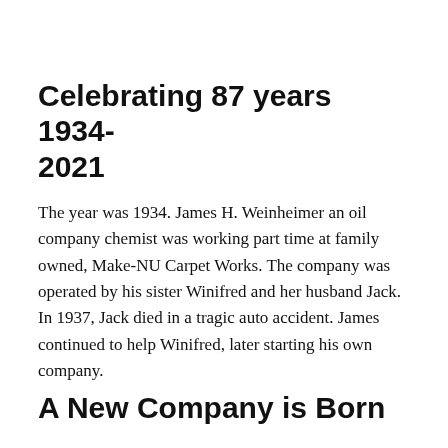Celebrating 87 years 1934-2021
The year was 1934. James H. Weinheimer an oil company chemist was working part time at family owned, Make-NU Carpet Works. The company was operated by his sister Winifred and her husband Jack. In 1937, Jack died in a tragic auto accident. James continued to help Winifred, later starting his own company.
A New Company is Born